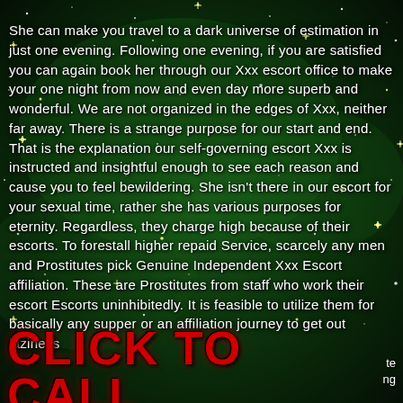She can make you travel to a dark universe of estimation in just one evening. Following one evening, if you are satisfied you can again book her through our Xxx escort office to make your one night from now and even day more superb and wonderful. We are not organized in the edges of Xxx, neither far away. There is a strange purpose for our start and end. That is the explanation our self-governing escort Xxx is instructed and insightful enough to see each reason and cause you to feel bewildering. She isn't there in our escort for your sexual time, rather she has various purposes for eternity. Regardless, they charge high because of their escorts. To forestall higher repaid Service, scarcely any men and Prostitutes pick Genuine Independent Xxx Escort affiliation. These are Prostitutes from staff who work their escort Escorts uninhibitedly. It is feasible to utilize them for basically any supper or an affiliation journey to get out laziness
CLICK TO CALL
te ng